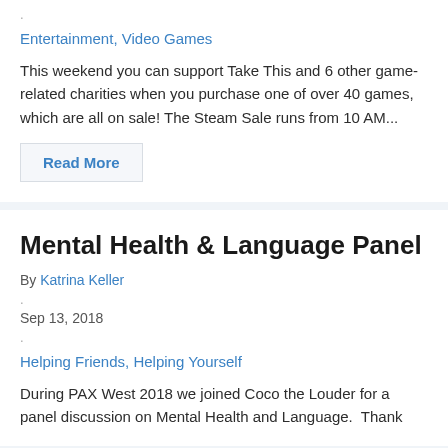.
Entertainment, Video Games
This weekend you can support Take This and 6 other game-related charities when you purchase one of over 40 games, which are all on sale! The Steam Sale runs from 10 AM...
Read More
Mental Health & Language Panel
By Katrina Keller
.
Sep 13, 2018
.
Helping Friends, Helping Yourself
During PAX West 2018 we joined Coco the Louder for a panel discussion on Mental Health and Language.  Thank